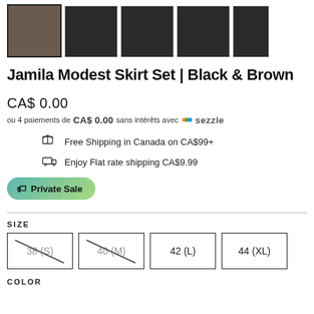[Figure (photo): Row of 5 thumbnail images showing a dark long skirt, first one selected with bold border]
Jamila Modest Skirt Set | Black & Brown
CA$ 0.00
ou 4 paiements de CA$ 0.00 sans intérêts avec Sezzle
Free Shipping in Canada on CA$99+
Enjoy Flat rate shipping CA$9.99
Private Sale
SIZE
38 (S) 40 (M) 42 (L) 44 (XL)
COLOR